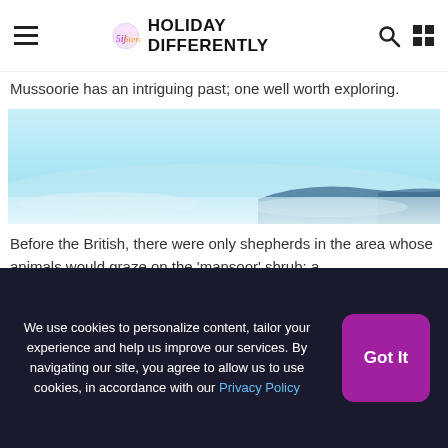HOLIDAY DIFFERENTLY
Mussoorie has an intriguing past; one well worth exploring.
[Figure (photo): Panoramic misty landscape showing mountain ridge emerging from clouds/fog with light blue sky]
Before the British, there were only shepherds in the area whose animals would graze on the 'mansoor' shrub; a
We use cookies to personalize content, tailor your experience and help us improve our services. By navigating our site, you agree to allow us to use cookies, in accordance with our Privacy Policy